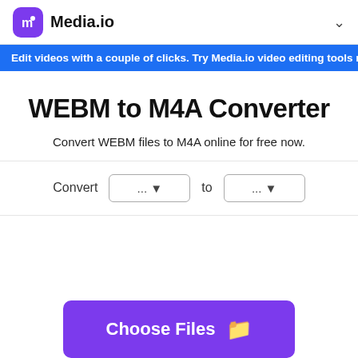Media.io
Edit videos with a couple of clicks. Try Media.io video editing tools now. 100% F
WEBM to M4A Converter
Convert WEBM files to M4A online for free now.
Convert ... to ...
Choose Files